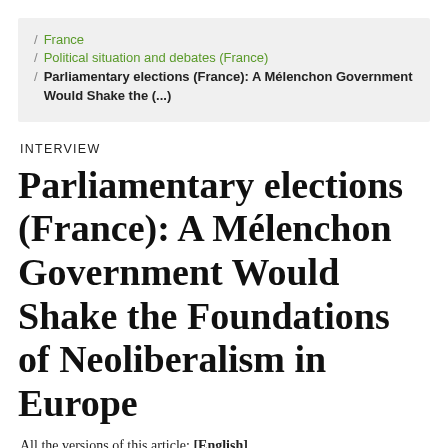/ France
/ Political situation and debates (France)
/ Parliamentary elections (France): A Mélenchon Government Would Shake the (...)
INTERVIEW
Parliamentary elections (France): A Mélenchon Government Would Shake the Foundations of Neoliberalism in Europe
All the versions of this article: [English]